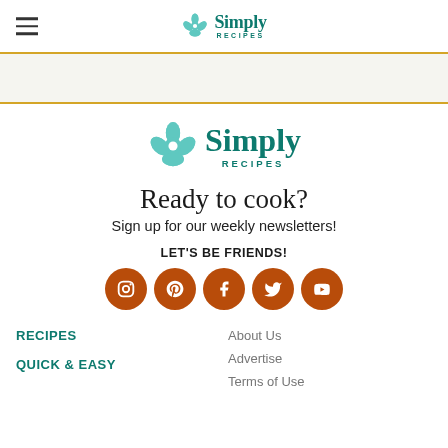Simply Recipes
[Figure (logo): Simply Recipes logo centered in main content area — teal flower icon and 'Simply RECIPES' text]
Ready to cook?
Sign up for our weekly newsletters!
LET'S BE FRIENDS!
[Figure (infographic): Five social media icons in brown/orange circles: Instagram, Pinterest, Facebook, Twitter, YouTube]
RECIPES
QUICK & EASY
About Us
Advertise
Terms of Use